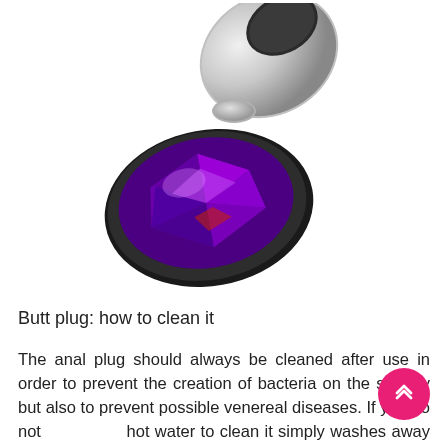[Figure (photo): A metal butt plug with a faceted purple/violet gemstone base, shown at an angle against a white background. The plug has a shiny silver/chrome finish.]
Butt plug: how to clean it
The anal plug should always be cleaned after use in order to prevent the creation of bacteria on the sex toy but also to prevent possible venereal diseases. If you do not hot water to clean it simply washes away all traces of faeces with